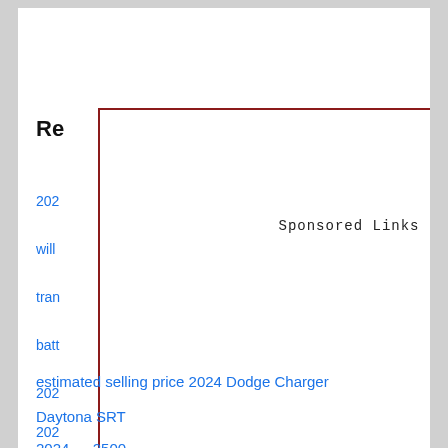Re…
[Figure (other): Sponsored Links advertisement box with red border]
202…
will …
tran…
batt…
202…
202…
estimated selling price 2024 Dodge Charger
Daytona SRT
2024 … 2500 … …